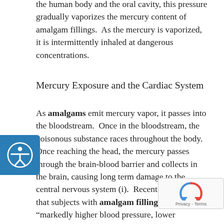the human body and the oral cavity, this pressure gradually vaporizes the mercury content of amalgam fillings.  As the mercury is vaporized, it is intermittently inhaled at dangerous concentrations.
Mercury Exposure and the Cardiac System
As amalgams emit mercury vapor, it passes into the bloodstream.  Once in the bloodstream, the poisonous substance races throughout the body.  Once reaching the head, the mercury passes through the brain-blood barrier and collects in the brain, causing long term damage to the central nervous system (i).  Recent studies show that subjects with amalgam fillings also show “markedly higher blood pressure, lower hemoglobin levels, and lower percentages of red blood cells.” (ii).